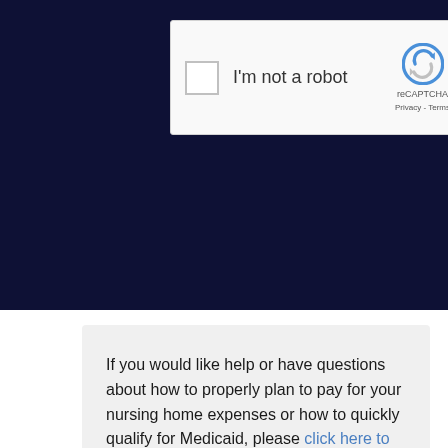[Figure (screenshot): reCAPTCHA widget showing checkbox 'I'm not a robot' with reCAPTCHA logo and Privacy/Terms links, on a dark navy background]
If you would like help or have questions about how to properly plan to pay for your nursing home expenses or how to quickly qualify for Medicaid, please click here to email us or phone 847-274-0947. To sign up for a free consultation or to just get more information click here.